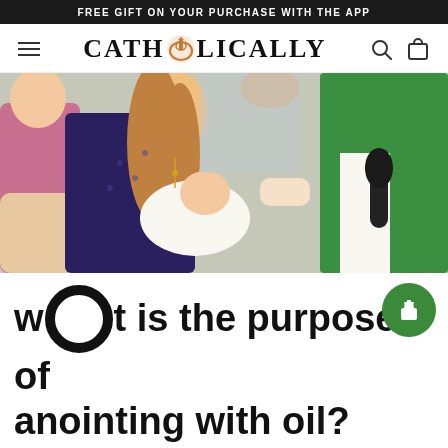FREE GIFT ON YOUR PURCHASE WITH THE APP
[Figure (logo): Catholically website logo with navigation bar including hamburger menu, search icon, and bag icon]
[Figure (photo): A priest anointing a newborn baby's forehead while a girl holds the baby, surrounded by family members at a baptism ceremony]
What is the purpose of anointing with oil?